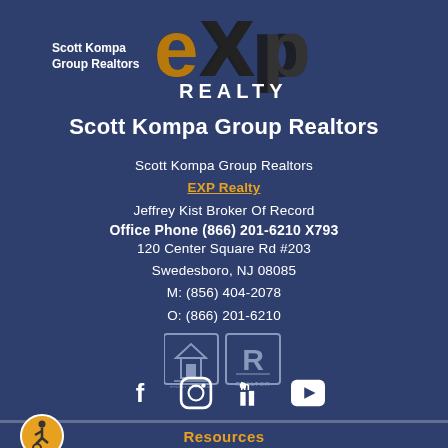[Figure (logo): eXp Realty logo with 'Scott Kompa Group Realtors' text and orange/black eXp branding]
Scott Kompa Group Realtors
Scott Kompa Group Realtors
EXP Realty
Jeffrey Kist Broker Of Record
Office Phone (866) 201-6210 X793
120 Center Square Rd #203
Swedesboro, NJ 08085
M: (856) 404-2078
O: (866) 201-6210
[Figure (logo): Equal Housing Opportunity and REALTOR badges]
[Figure (infographic): Social media icons: Facebook, Instagram, LinkedIn, YouTube]
[Figure (logo): Accessibility (wheelchair) icon badge in orange circle]
Resources